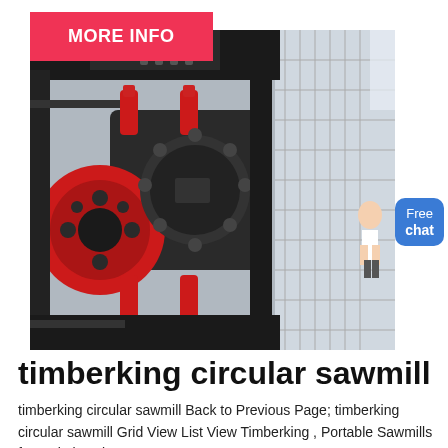MORE INFO
[Figure (photo): Industrial circular sawmill machinery viewed from above/side, featuring a large red pulley wheel and red hydraulic cylinders on a dark heavy-duty frame, in a factory or workshop setting with metal grating visible on the right side.]
timberking circular sawmill
timberking circular sawmill Back to Previous Page; timberking circular sawmill Grid View List View Timberking , Portable Sawmills from TimberKing.